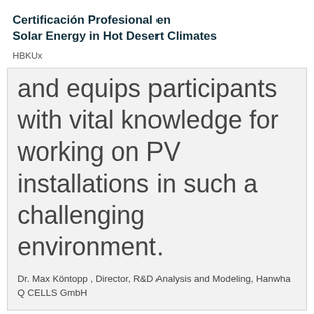Certificación Profesional en Solar Energy in Hot Desert Climates
HBKUx
and equips participants with vital knowledge for working on PV installations in such a challenging environment.
Dr. Max Köntopp , Director, R&D Analysis and Modeling, Hanwha Q CELLS GmbH
edX y sus Miembros usan cookies y otras tecnologías de seguimiento para fines de rendimiento, análisis y marketing.
Learn with edX Mobile
Full courses in your pocket so you can learn on the go
★★★★½
Get